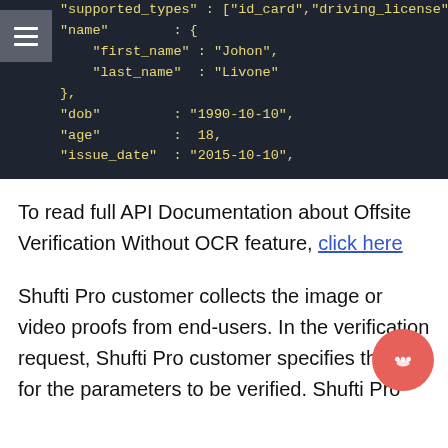[Figure (screenshot): Dark-themed code block showing JSON snippet with fields: supported_types, name (first_name: Johon, last_name: Livone), dob, age, issue_date. A hamburger menu icon is visible on the top-left.]
To read full API Documentation about Offsite Verification Without OCR feature, click here
Shufti Pro customer collects the image or video proofs from end-users. In the verification request, Shufti Pro customer specifies the k for the parameters to be verified. Shufti Pro